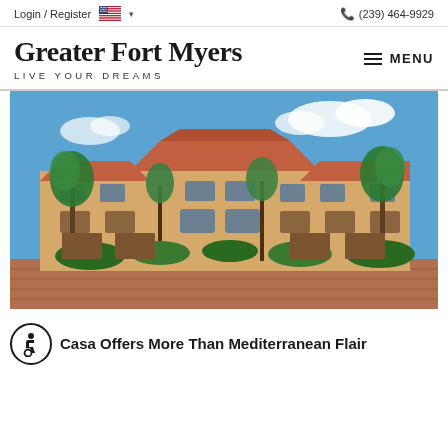Login / Register  🇺🇸 ∨    📞 (239) 464-9929
Greater Fort Myers
LIVE YOUR DREAMS
MENU
[Figure (photo): Exterior photo of a Mediterranean-style multi-story residential building with red tile roofs, beige/yellow stucco walls, palm trees and tropical landscaping in the foreground, and a blue sky with clouds in the background. A brick paved area is visible in the foreground.]
Casa Offers More Than Mediterranean Flair